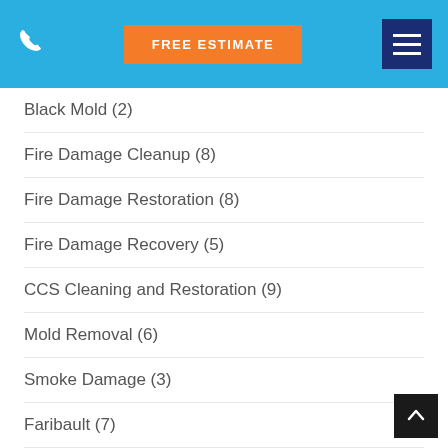FREE ESTIMATE
Black Mold (2)
Fire Damage Cleanup (8)
Fire Damage Restoration (8)
Fire Damage Recovery (5)
CCS Cleaning and Restoration (9)
Mold Removal (6)
Smoke Damage (3)
Faribault (7)
Professional Cleaning (76)
Flooded Basement (14)
Flooded Basement (6)